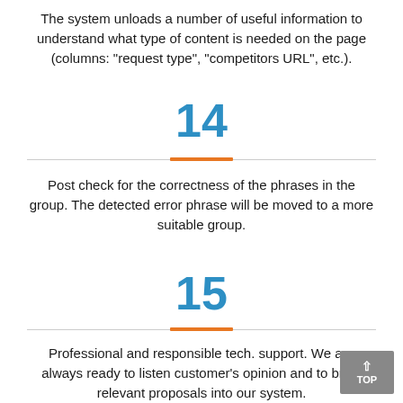The system unloads a number of useful information to understand what type of content is needed on the page (columns: "request type", "competitors URL", etc.).
14
Post check for the correctness of the phrases in the group. The detected error phrase will be moved to a more suitable group.
15
Professional and responsible tech. support. We are always ready to listen customer's opinion and to bring relevant proposals into our system.
16